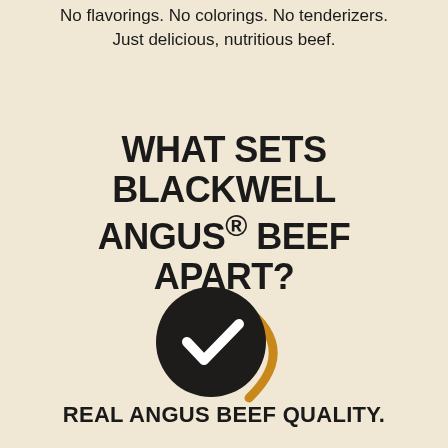No flavorings. No colorings. No tenderizers. Just delicious, nutritious beef.
WHAT SETS BLACKWELL ANGUS® BEEF APART?
[Figure (logo): Circular dark/black badge with white checkmark inside, with a golden/amber curved swoosh accent on the right side — quality certification logo]
REAL ANGUS BEEF QUALITY.